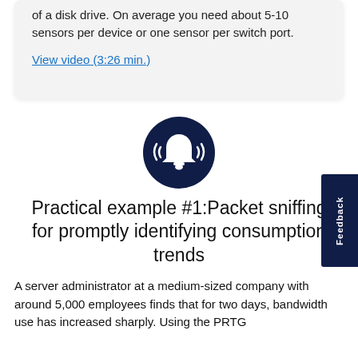of a disk drive. On average you need about 5-10 sensors per device or one sensor per switch port.
View video (3:26 min.)
[Figure (illustration): Dark navy circular icon with a bell and sound/alert waves on either side, indicating notifications or alerts.]
Practical example #1:Packet sniffing for promptly identifying consumption trends
A server administrator at a medium-sized company with around 5,000 employees finds that for two days, bandwidth use has increased sharply. Using the PRTG